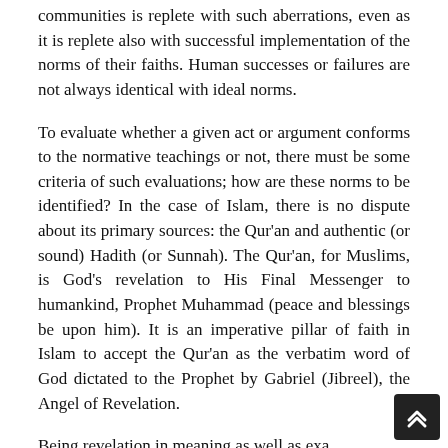communities is replete with such aberrations, even as it is replete also with successful implementation of the norms of their faiths. Human successes or failures are not always identical with ideal norms.
To evaluate whether a given act or argument conforms to the normative teachings or not, there must be some criteria of such evaluations; how are these norms to be identified? In the case of Islam, there is no dispute about its primary sources: the Qur'an and authentic (or sound) Hadith (or Sunnah). The Qur'an, for Muslims, is God's revelation to His Final Messenger to humankind, Prophet Muhammad (peace and blessings be upon him). It is an imperative pillar of faith in Islam to accept the Qur'an as the verbatim word of God dictated to the Prophet by Gabriel (Jibreel), the Angel of Revelation.
Being revelation in meaning as well as exa...